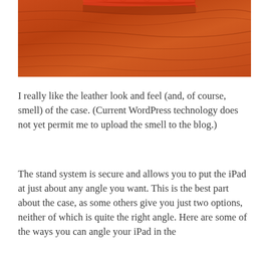[Figure (photo): Close-up photo of a red/orange leather iPad case resting on a wooden surface with warm reddish-brown wood grain visible.]
I really like the leather look and feel (and, of course, smell) of the case. (Current WordPress technology does not yet permit me to upload the smell to the blog.)
The stand system is secure and allows you to put the iPad at just about any angle you want. This is the best part about the case, as some others give you just two options, neither of which is quite the right angle. Here are some of the ways you can angle your iPad in the